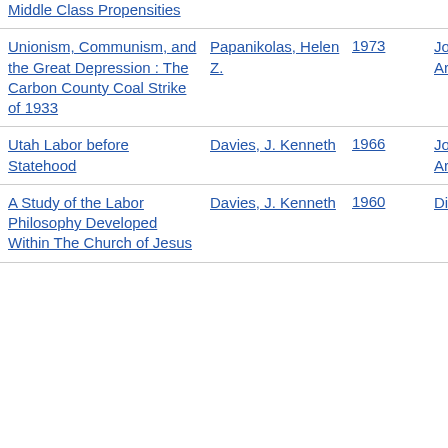| Title | Author | Year | Type |
| --- | --- | --- | --- |
| Middle Class Propensities |  |  |  |
| Unionism, Communism, and the Great Depression : The Carbon County Coal Strike of 1933 | Papanikolas, Helen Z. | 1973 | Journal Article |
| Utah Labor before Statehood | Davies, J. Kenneth | 1966 | Journal Article |
| A Study of the Labor Philosophy Developed Within The Church of Jesus | Davies, J. Kenneth | 1960 | Dissertation |